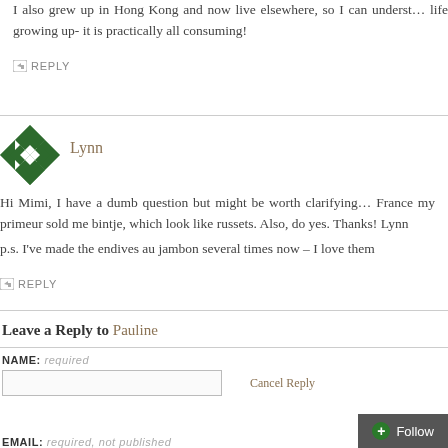I also grew up in Hong Kong and now live elsewhere, so I can understand life growing up- it is practically all consuming!
↩ REPLY
Lynn
Hi Mimi, I have a dumb question but might be worth clarifying… France my primeur sold me bintje, which look like russets. Also, do yes. Thanks! Lynn
p.s. I've made the endives au jambon several times now – I love them
↩ REPLY
Leave a Reply to Pauline
NAME: required
Cancel Reply
EMAIL: required, not published
+ Follow